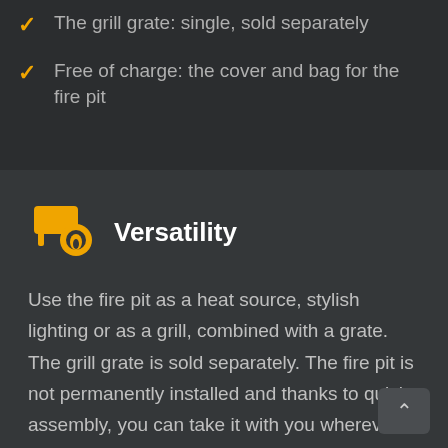The grill grate: single, sold separately
Free of charge: the cover and bag for the fire pit
Versatility
Use the fire pit as a heat source, stylish lighting or as a grill, combined with a grate. The grill grate is sold separately. The fire pit is not permanently installed and thanks to quick assembly, you can take it with you wherever you want.